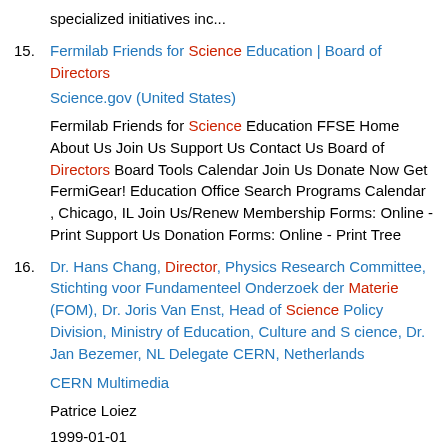specialized initiatives inc...
15. Fermilab Friends for Science Education | Board of Directors
Science.gov (United States)
Fermilab Friends for Science Education FFSE Home About Us Join Us Support Us Contact Us Board of Directors Board Tools Calendar Join Us Donate Now Get FermiGear! Education Office Search Programs Calendar , Chicago, IL Join Us/Renew Membership Forms: Online - Print Support Us Donation Forms: Online - Print Tree
16. Dr. Hans Chang, Director, Physics Research Committee, Stichting voor Fundamenteel Onderzoek der Materie (FOM), Dr. Joris Van Enst, Head of Science Policy Division, Ministry of Education, Culture and S cience, Dr. Jan Bezemer, NL Delegate CERN, Netherlands
CERN Multimedia
Patrice Loiez
1999-01-01